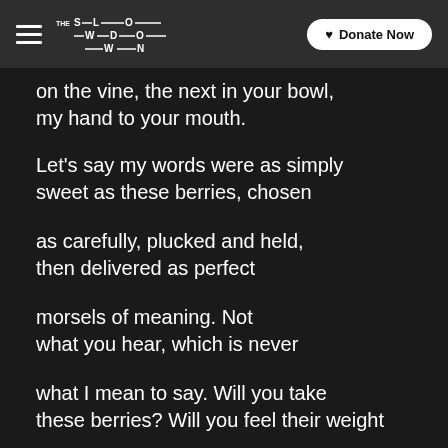THE SLOWDOWN — Donate Now
on the vine, the next in your bowl,
my hand to your mouth.
Let's say my words were as simply
sweet as these berries, chosen
as carefully, plucked and held,
then delivered as perfect
morsels of meaning. Not
what you hear, which is never
what I mean to say. Will you take
these berries? Will you feel their weight